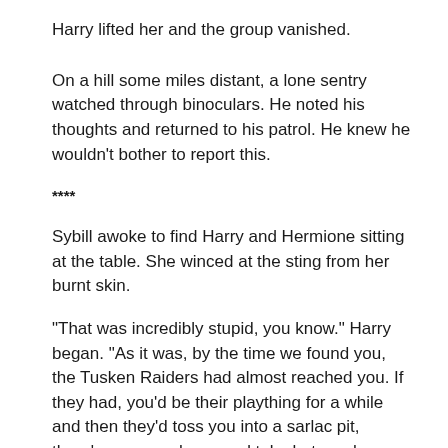Harry lifted her and the group vanished.
On a hill some miles distant, a lone sentry watched through binoculars. He noted his thoughts and returned to his patrol. He knew he wouldn't bother to report this.
****
Sybill awoke to find Harry and Hermione sitting at the table. She winced at the sting from her burnt skin.
“That was incredibly stupid, you know.” Harry began. “As it was, by the time we found you, the Tusken Raiders had almost reached you. If they had, you’d be their plaything for a while and then they’d toss you into a sarlac pit, there’s one near here, and take bets on how long it would take you to die.”